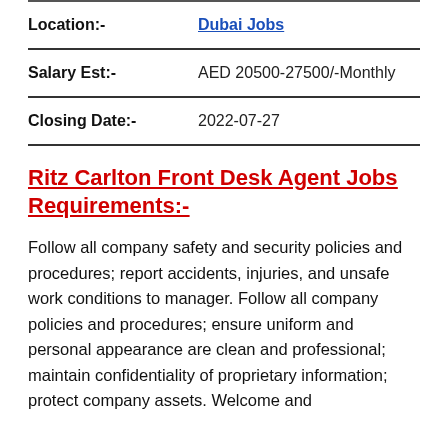| Location:- | Dubai Jobs |
| Salary Est:- | AED 20500-27500/-Monthly |
| Closing Date:- | 2022-07-27 |
Ritz Carlton Front Desk Agent Jobs Requirements:-
Follow all company safety and security policies and procedures; report accidents, injuries, and unsafe work conditions to manager. Follow all company policies and procedures; ensure uniform and personal appearance are clean and professional; maintain confidentiality of proprietary information; protect company assets. Welcome and